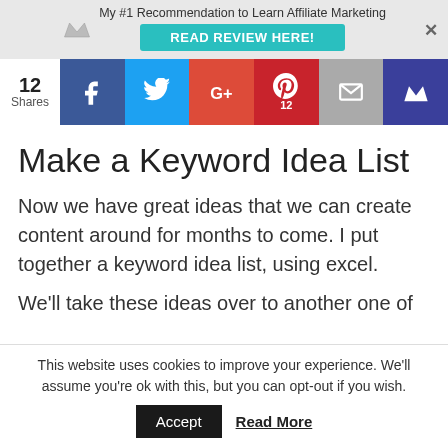My #1 Recommendation to Learn Affiliate Marketing
READ REVIEW HERE!
[Figure (infographic): Social share bar showing 12 shares with icons for Facebook, Twitter, Google+, Pinterest (12), Email, and crown/bookmark button]
Make a Keyword Idea List
Now we have great ideas that we can create content around for months to come. I put together a keyword idea list, using excel.
We'll take these ideas over to another one of
This website uses cookies to improve your experience. We'll assume you're ok with this, but you can opt-out if you wish.